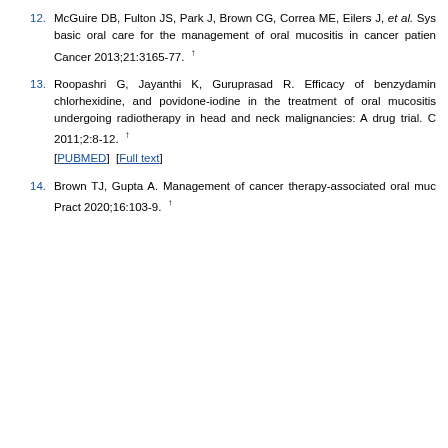12. McGuire DB, Fulton JS, Park J, Brown CG, Correa ME, Eilers J, et al. Systematic review of basic oral care for the management of oral mucositis in cancer patients. Support Care Cancer 2013;21:3165-77. ↑
13. Roopashri G, Jayanthi K, Guruprasad R. Efficacy of benzydamine hydrochloride, chlorhexidine, and povidone-iodine in the treatment of oral mucositis amongst patients undergoing radiotherapy in head and neck malignancies: A drug trial. Contemp Clin Dent 2011;2:8-12. ↑ [PUBMED] [Full text]
14. Brown TJ, Gupta A. Management of cancer therapy-associated oral mucositis. JCO Oncol Pract 2020;16:103-9. ↑
This website uses cookies. By continuing to use this website you are giving consent to cookies being used. For information on cookies and how you can disable them visit our
Privacy and Cookie Policy.
AGREE & PROCEED